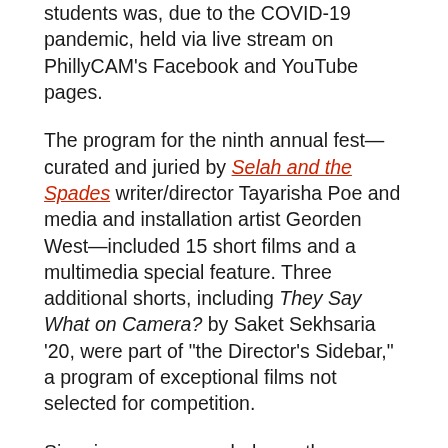students was, due to the COVID-19 pandemic, held via live stream on PhillyCAM's Facebook and YouTube pages.
The program for the ninth annual fest—curated and juried by Selah and the Spades writer/director Tayarisha Poe and media and installation artist Georden West—included 15 short films and a multimedia special feature. Three additional shorts, including They Say What on Camera? by Saket Sekhsaria '20, were part of "the Director's Sidebar," a program of exceptional films not selected for competition.
Six prizes were awarded over the course of the evening including the First Jury Award, which was given to Julia Coletti '21 for her film Panic, an animated public service announcement intended to calm people down and do the opposite. (That is a still